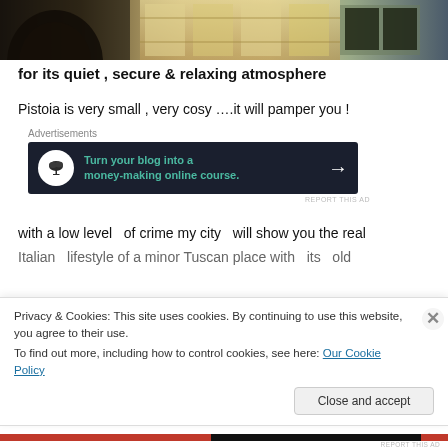[Figure (photo): Top portion of a photo showing an architectural scene — ornate building facade with columns and decorative patterns, likely Italian, warm tones of beige, gold, and dark grey.]
for its quiet , secure & relaxing atmosphere
Pistoia is very small , very cosy ….it will pamper you !
[Figure (screenshot): Advertisement banner with dark navy background. Shows a bonsai tree icon in white circle, teal/green text reading 'Turn your blog into a money-making online course.' with a white arrow.]
with a low level  of crime my city  will show you the real
Italian  lifestyle of a minor Tuscan place with  its  old
Privacy & Cookies: This site uses cookies. By continuing to use this website, you agree to their use.
To find out more, including how to control cookies, see here: Our Cookie Policy
Close and accept